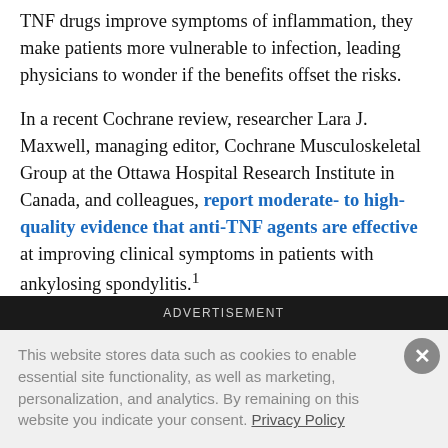TNF drugs improve symptoms of inflammation, they make patients more vulnerable to infection, leading physicians to wonder if the benefits offset the risks.
In a recent Cochrane review, researcher Lara J. Maxwell, managing editor, Cochrane Musculoskeletal Group at the Ottawa Hospital Research Institute in Canada, and colleagues, report moderate- to high-quality evidence that anti-TNF agents are effective at improving clinical symptoms in patients with ankylosing spondylitis.¹
ADVERTISEMENT
This website stores data such as cookies to enable essential site functionality, as well as marketing, personalization, and analytics. By remaining on this website you indicate your consent. Privacy Policy